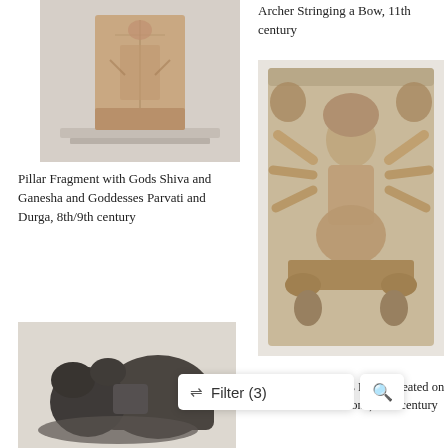Archer Stringing a Bow, 11th century
[Figure (photo): Stone sculpture relief of an archer figure, displayed on a white pedestal, 11th century]
Pillar Fragment with Gods Shiva and Ganesha and Goddesses Parvati and Durga, 8th/9th century
[Figure (photo): Large stone relief sculpture of multi-armed goddess (Durga) seated on a throne, surrounded by animals and attendants]
[Figure (photo): Dark stone sculpture of a deity or figure with elephants, bottom-left corner]
Ardhanari Goddess Durga, Seated on a Double Lion Throne, 11th century